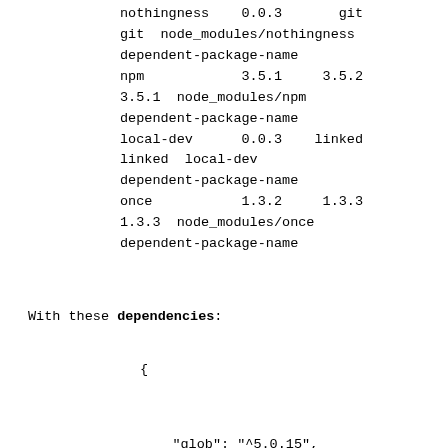nothingness    0.0.3       git
git  node_modules/nothingness
dependent-package-name
npm            3.5.1     3.5.2
3.5.1  node_modules/npm
dependent-package-name
local-dev      0.0.3    linked
linked  local-dev
dependent-package-name
once           1.3.2     1.3.3
1.3.3  node_modules/once
dependent-package-name
With these dependencies:
{


    "glob": "^5.0.15",